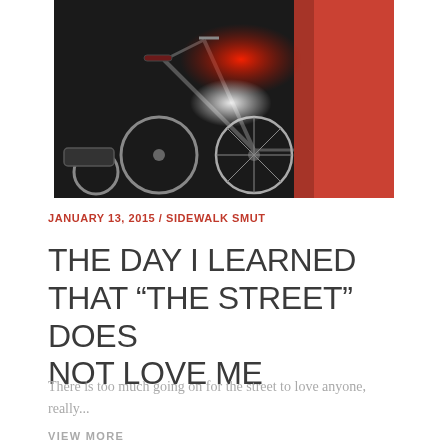[Figure (photo): Nighttime photo of a bicycle with lights on, dark background with a red element on the right side]
JANUARY 13, 2015 / SIDEWALK SMUT
THE DAY I LEARNED THAT “THE STREET” DOES NOT LOVE ME
There is too much going on for the street to love anyone, really...
VIEW MORE